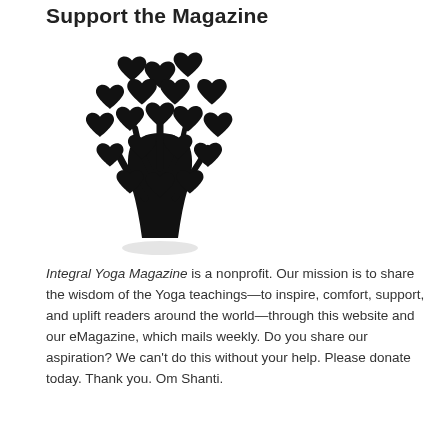Support the Magazine
[Figure (illustration): A stylized tree with heart-shaped leaves/fruits in black silhouette, with a subtle shadow beneath the trunk.]
Integral Yoga Magazine is a nonprofit. Our mission is to share the wisdom of the Yoga teachings—to inspire, comfort, support, and uplift readers around the world—through this website and our eMagazine, which mails weekly. Do you share our aspiration? We can't do this without your help. Please donate today. Thank you. Om Shanti.